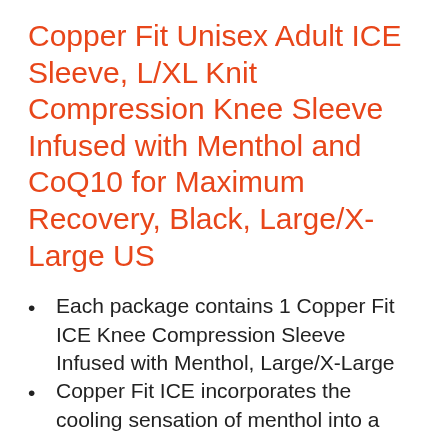Copper Fit Unisex Adult ICE Sleeve, L/XL Knit Compression Knee Sleeve Infused with Menthol and CoQ10 for Maximum Recovery, Black, Large/X-Large US
Each package contains 1 Copper Fit ICE Knee Compression Sleeve Infused with Menthol, Large/X-Large
Copper Fit ICE incorporates the cooling sensation of menthol into a